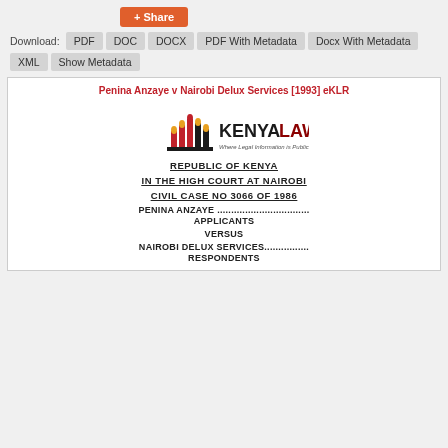+ Share
Download: PDF  DOC  DOCX  PDF With Metadata  Docx With Metadata  XML  Show Metadata
Penina Anzaye v Nairobi Delux Services [1993] eKLR
[Figure (logo): Kenya Law logo — stylized building/candles with text KENYA LAW and tagline Where Legal Information is Public Knowledge]
REPUBLIC OF KENYA
IN THE HIGH COURT AT NAIROBI
CIVIL CASE NO 3066 OF 1986
PENINA ANZAYE .................................
APPLICANTS
VERSUS
NAIROBI DELUX SERVICES................
RESPONDENTS